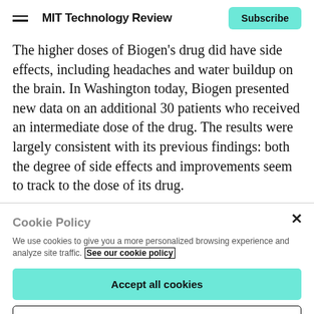MIT Technology Review | Subscribe
The higher doses of Biogen's drug did have side effects, including headaches and water buildup on the brain. In Washington today, Biogen presented new data on an additional 30 patients who received an intermediate dose of the drug. The results were largely consistent with its previous findings: both the degree of side effects and improvements seem to track to the dose of its drug.
Cookie Policy
We use cookies to give you a more personalized browsing experience and analyze site traffic. See our cookie policy
Accept all cookies
Cookies settings